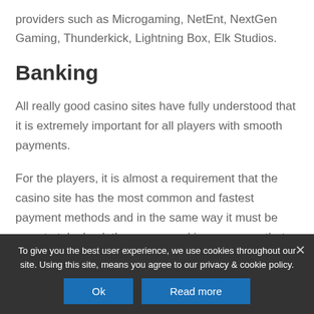providers such as Microgaming, NetEnt, NextGen Gaming, Thunderkick, Lightning Box, Elk Studios.
Banking
All really good casino sites have fully understood that it is extremely important for all players with smooth payments.
For the players, it is almost a requirement that the casino site has the most common and fastest payment methods and in the same way it must be easy to take back the money and in a currency that the player usually uses.
To give you the best user experience, we use cookies throughout our site. Using this site, means you agree to our privacy & cookie policy.